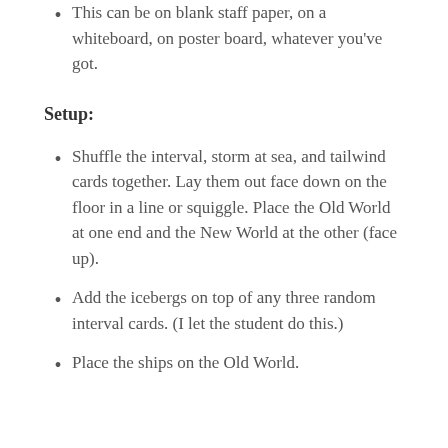This can be on blank staff paper, on a whiteboard, on poster board, whatever you've got.
Setup:
Shuffle the interval, storm at sea, and tailwind cards together. Lay them out face down on the floor in a line or squiggle. Place the Old World at one end and the New World at the other (face up).
Add the icebergs on top of any three random interval cards. (I let the student do this.)
Place the ships on the Old World.